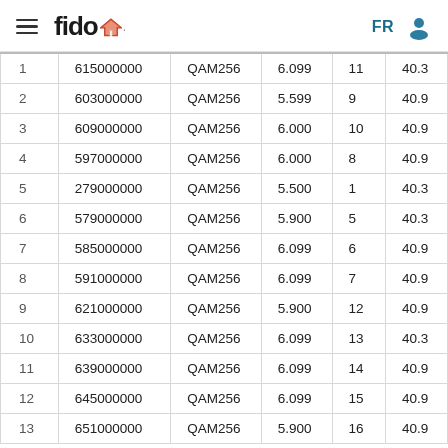fido FR
| 1 | 615000000 | QAM256 | 6.099 | 11 | 40.3 |
| 2 | 603000000 | QAM256 | 5.599 | 9 | 40.9 |
| 3 | 609000000 | QAM256 | 6.000 | 10 | 40.9 |
| 4 | 597000000 | QAM256 | 6.000 | 8 | 40.9 |
| 5 | 279000000 | QAM256 | 5.500 | 1 | 40.3 |
| 6 | 579000000 | QAM256 | 5.900 | 5 | 40.3 |
| 7 | 585000000 | QAM256 | 6.099 | 6 | 40.9 |
| 8 | 591000000 | QAM256 | 6.099 | 7 | 40.9 |
| 9 | 621000000 | QAM256 | 5.900 | 12 | 40.9 |
| 10 | 633000000 | QAM256 | 6.099 | 13 | 40.3 |
| 11 | 639000000 | QAM256 | 6.099 | 14 | 40.9 |
| 12 | 645000000 | QAM256 | 6.099 | 15 | 40.9 |
| 13 | 651000000 | QAM256 | 5.900 | 16 | 40.9 |